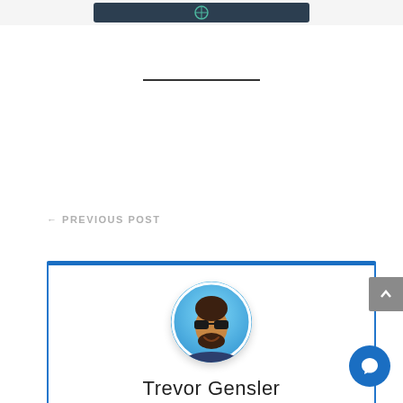[Figure (screenshot): Partial top navigation bar with dark background element visible at top of page crop]
← PREVIOUS POST
[Figure (illustration): Author bio card with blue border, circular avatar photo of Trevor Gensler (man with sunglasses and beard smiling), and author name]
Trevor Gensler